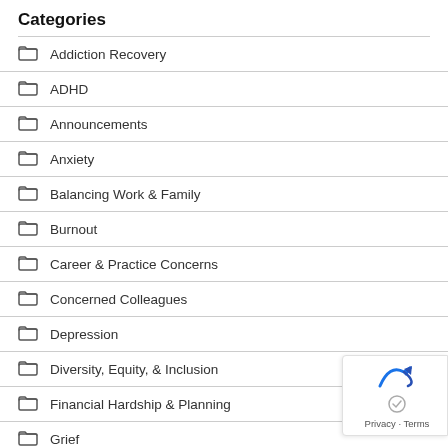Categories
Addiction Recovery
ADHD
Announcements
Anxiety
Balancing Work & Family
Burnout
Career & Practice Concerns
Concerned Colleagues
Depression
Diversity, Equity, & Inclusion
Financial Hardship & Planning
Grief